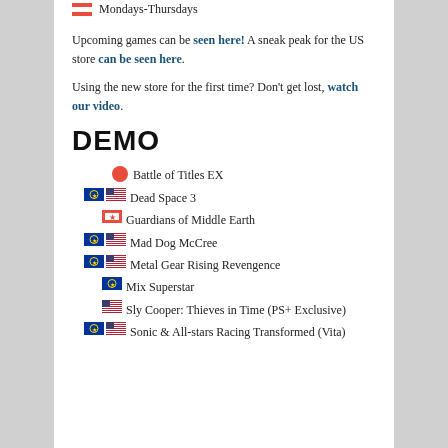Mondays-Thursdays
Upcoming games can be seen here! A sneak peak for the US store can be seen here.
Using the new store for the first time? Don't get lost, watch our video.
DEMO
Battle of Titles EX
Dead Space 3
Guardians of Middle Earth
Mad Dog McCree
Metal Gear Rising Revengence
Mix Superstar
Sly Cooper: Thieves in Time (PS+ Exclusive)
Sonic & All-stars Racing Transformed (Vita)